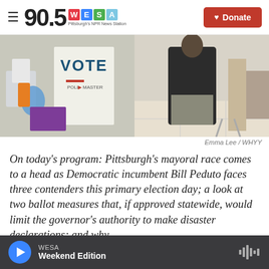90.5 WESA — Pittsburgh's NPR News Station | Donate
[Figure (photo): Voting scene photo: a ballot box with 'VOTE' text and 'Poll Master' branding on left, a person at a voting booth on right]
Emma Lee / WHYY
On today's program: Pittsburgh's mayoral race comes to a head as Democratic incumbent Bill Peduto faces three contenders this primary election day; a look at two ballot measures that, if approved statewide, would limit the governor's authority to make disaster declarations; and why
WESA — Weekend Edition